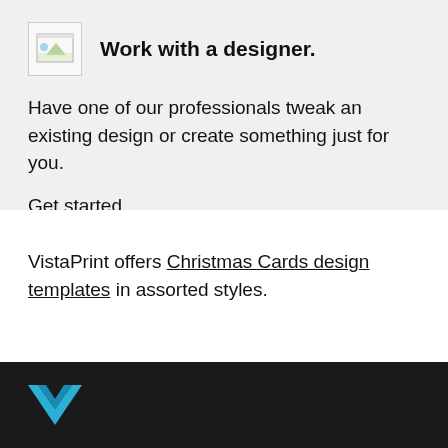[Figure (logo): Small image icon placeholder (broken image box) representing a designer/design-related image]
Work with a designer.
Have one of our professionals tweak an existing design or create something just for you.
Get started
VistaPrint offers Christmas Cards design templates in assorted styles.
[Figure (logo): VistaPrint logo — stylized blue V/chevron on dark background]